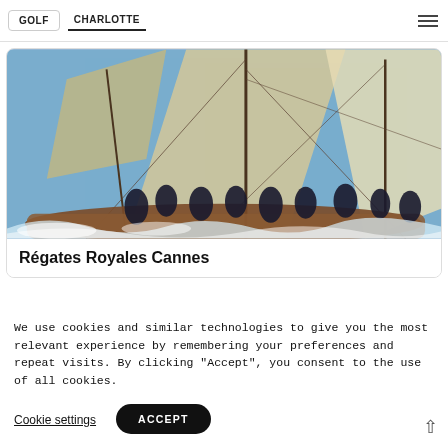GOLF | CHARLOTTE
[Figure (photo): Sailing regatta photo showing crew members on a classic wooden sailboat with large sails, racing on choppy water]
Régates Royales Cannes
We use cookies and similar technologies to give you the most relevant experience by remembering your preferences and repeat visits. By clicking "Accept", you consent to the use of all cookies.
Cookie settings | ACCEPT